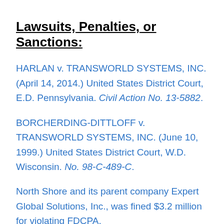Lawsuits, Penalties, or Sanctions:
HARLAN v. TRANSWORLD SYSTEMS, INC. (April 14, 2014.) United States District Court, E.D. Pennsylvania. Civil Action No. 13-5882.
BORCHERDING-DITTLOFF v. TRANSWORLD SYSTEMS, INC. (June 10, 1999.) United States District Court, W.D. Wisconsin. No. 98-C-489-C.
North Shore and its parent company Expert Global Solutions, Inc., was fined $3.2 million for violating FDCPA.